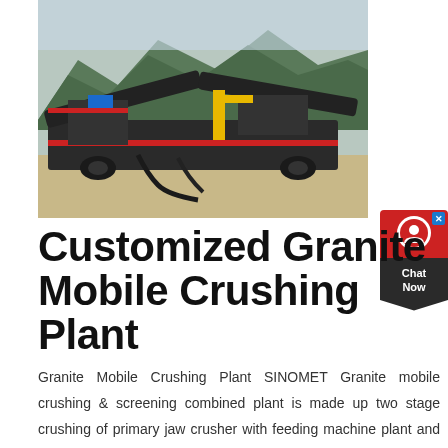[Figure (photo): Granite mobile crushing plant machinery with conveyor belts and jaw crushers set against a mountainous background, photographed outdoors on rocky terrain.]
Customized Granite Mobile Crushing Plant
Granite Mobile Crushing Plant SINOMET Granite mobile crushing & screening combined plant is made up two stage crushing of primary jaw crusher with feeding machine plant and secondary impact crusher withGranite Stone Crushing Process:Big granite materials are fed to the jaw crusher evenly and gradually by